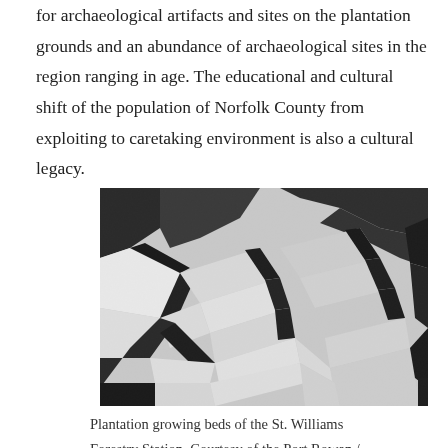for archaeological artifacts and sites on the plantation grounds and an abundance of archaeological sites in the region ranging in age. The educational and cultural shift of the population of Norfolk County from exploiting to caretaking environment is also a cultural legacy.
[Figure (photo): Black and white aerial photograph of plantation growing beds at the St. Williams Forestry Station, showing rows of rectangular cultivated plots separated by tree lines.]
Plantation growing beds of the St. Williams Forestry Station, Courtesy of the Port Rowan /